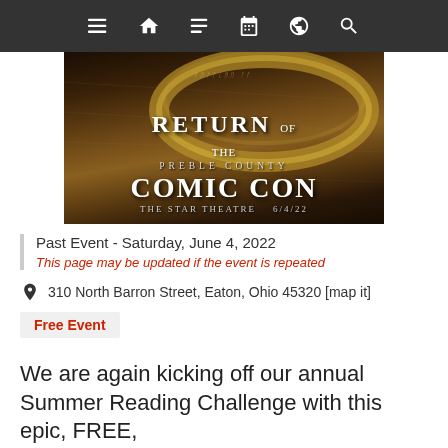Navigation bar with menu, home, list, calendar, globe, search icons
[Figure (illustration): Promotional banner image for 'Return of the Preble County Comic Con' at The Star Theatre on 6/4/22, with a fantasy golden ring on a map background]
Past Event - Saturday, June 4, 2022
This page may be updated if the event is repeated
310 North Barron Street, Eaton, Ohio 45320 [map it]
Free Event
We are again kicking off our annual Summer Reading Challenge with this epic, FREE,